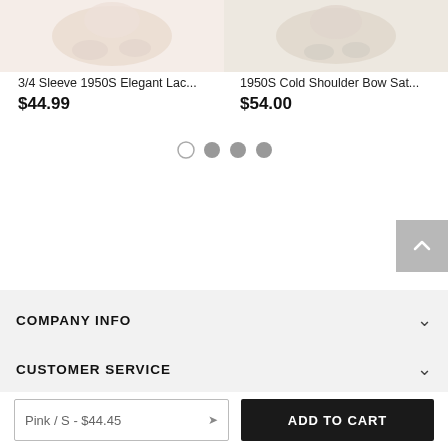[Figure (photo): Product image of 3/4 Sleeve 1950S Elegant Lace dress (partially visible at top)]
3/4 Sleeve 1950S Elegant Lac...
$44.99
[Figure (photo): Product image of 1950S Cold Shoulder Bow Satin dress (partially visible at top)]
1950S Cold Shoulder Bow Sat...
$54.00
[Figure (other): Carousel pagination dots: one empty circle and three filled grey circles]
COMPANY INFO
CUSTOMER SERVICE
Pink / S - $44.45
ADD TO CART